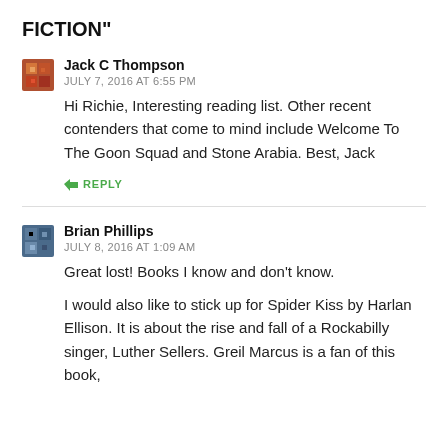FICTION"
Jack C Thompson
JULY 7, 2016 AT 6:55 PM
Hi Richie, Interesting reading list. Other recent contenders that come to mind include Welcome To The Goon Squad and Stone Arabia. Best, Jack
REPLY
Brian Phillips
JULY 8, 2016 AT 1:09 AM
Great lost! Books I know and don't know.
I would also like to stick up for Spider Kiss by Harlan Ellison. It is about the rise and fall of a Rockabilly singer, Luther Sellers. Greil Marcus is a fan of this book,